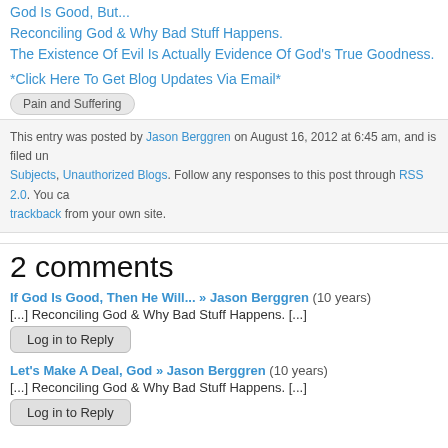God Is Good, But...
Reconciling God & Why Bad Stuff Happens.
The Existence Of Evil Is Actually Evidence Of God's True Goodness.
*Click Here To Get Blog Updates Via Email*
Pain and Suffering
This entry was posted by Jason Berggren on August 16, 2012 at 6:45 am, and is filed under Subjects, Unauthorized Blogs. Follow any responses to this post through RSS 2.0. You can trackback from your own site.
2 comments
If God Is Good, Then He Will... » Jason Berggren (10 years)
[...] Reconciling God & Why Bad Stuff Happens. [...]
Log in to Reply
Let's Make A Deal, God » Jason Berggren (10 years)
[...] Reconciling God & Why Bad Stuff Happens. [...]
Log in to Reply